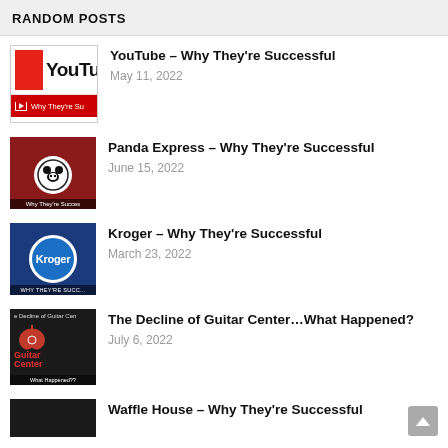RANDOM POSTS
YouTube – Why They're Successful
May 11, 2022
Panda Express – Why They're Successful
June 15, 2022
Kroger – Why They're Successful
March 23, 2022
The Decline of Guitar Center…What Happened?
July 6, 2022
Waffle House – Why They're Successful